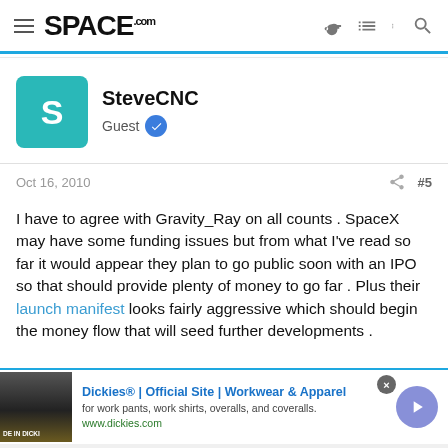SPACE.com
SteveCNC
Guest
Oct 16, 2010  #5
I have to agree with Gravity_Ray on all counts . SpaceX may have some funding issues but from what I've read so far it would appear they plan to go public soon with an IPO so that should provide plenty of money to go far . Plus their launch manifest looks fairly aggressive which should begin the money flow that will seed further developments .
[Figure (screenshot): Advertisement for Dickies® | Official Site | Workwear & Apparel - for work pants, work shirts, overalls, and coveralls. www.dickies.com]